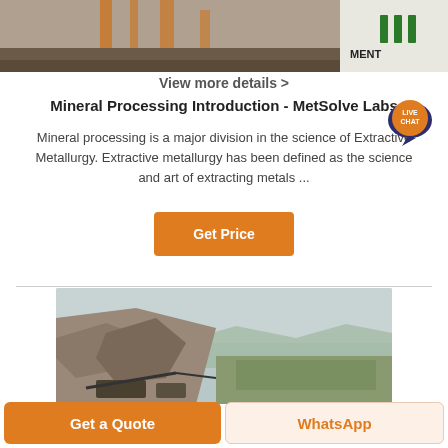[Figure (photo): Top strip image showing mining/industrial facility with orange structural frames and green logo reading MENT on right side]
View more details >
Mineral Processing Introduction - MetSolve Labs
Mineral processing is a major division in the science of Extractive Metallurgy. Extractive metallurgy has been defined as the science and art of extracting metals ...
[Figure (other): Live chat bubble icon with dark blue speech bubble and orange circle saying LIVE CHAT]
Get Price
[Figure (photo): Aerial/landscape photo of an open-cast mine or quarry with rocky terrain, excavated hillside, and mining equipment at the bottom]
Get a Quote
WhatsApp